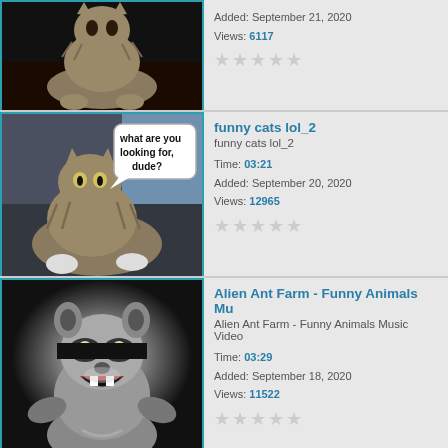[Figure (photo): Cat sitting upright, black background, partial view at top of page]
Added: September 21, 2020
Views: 6117
[Figure (photo): Cat lying down with speech bubble saying 'what are you looking for, dude?']
funny cats lol_2
funny cats lol_2
Time: 03:21
Added: September 20, 2020
Views: 12965
[Figure (photo): Raccoon wearing sunglasses, mouth open, black background]
Alien Ant Farm - Funny Animals Mu
Alien Ant Farm - Funny Animals Music Video
Time: 03:29
Added: September 18, 2020
Views: 11522
[Figure (photo): Partial thumbnail of next video listing at bottom]